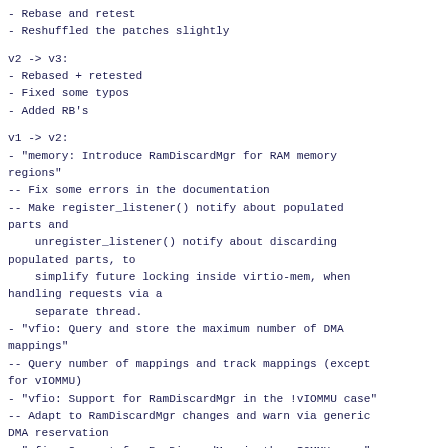- Rebase and retest
- Reshuffled the patches slightly
v2 -> v3:
- Rebased + retested
- Fixed some typos
- Added RB's
v1 -> v2:
- "memory: Introduce RamDiscardMgr for RAM memory regions"
-- Fix some errors in the documentation
-- Make register_listener() notify about populated parts and
    unregister_listener() notify about discarding populated parts, to
    simplify future locking inside virtio-mem, when handling requests via a
    separate thread.
- "vfio: Query and store the maximum number of DMA mappings"
-- Query number of mappings and track mappings (except for vIOMMU)
- "vfio: Support for RamDiscardMgr in the !vIOMMU case"
-- Adapt to RamDiscardMgr changes and warn via generic DMA reservation
- "vfio: Support for RamDiscardMgr in the vIOMMU case"
-- Use vmstate priority to handle migration dependencies
RFC -> 1